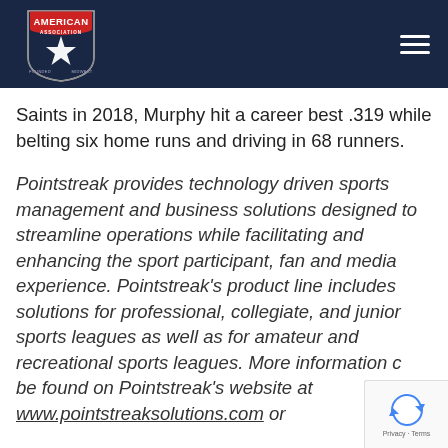[Figure (logo): American Association baseball league logo — shield shape with red banner reading AMERICAN across the top, star in center, dark navy background]
Saints in 2018, Murphy hit a career best .319 while belting six home runs and driving in 68 runners.
Pointstreak provides technology driven sports management and business solutions designed to streamline operations while facilitating and enhancing the sport participant, fan and media experience. Pointstreak's product line includes solutions for professional, collegiate, and junior sports leagues as well as for amateur and recreational sports leagues. More information c... be found on Pointstreak's website at www.pointstreaksolutions.com or
[Figure (logo): Google reCAPTCHA badge with blue recycle-arrow logo and Privacy · Terms text]